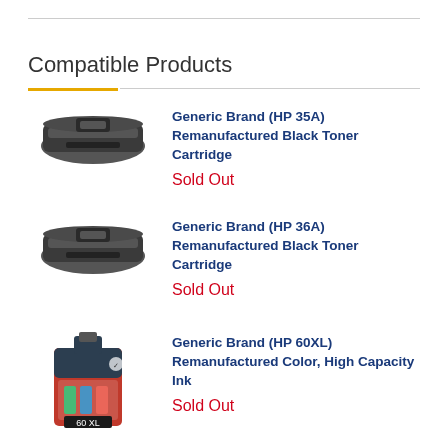Compatible Products
Generic Brand (HP 35A) Remanufactured Black Toner Cartridge
Sold Out
Generic Brand (HP 36A) Remanufactured Black Toner Cartridge
Sold Out
Generic Brand (HP 60XL) Remanufactured Color, High Capacity Ink
Sold Out